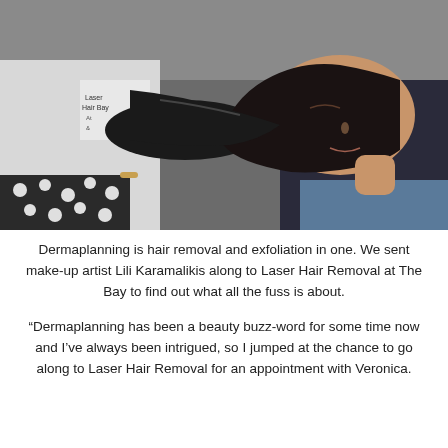[Figure (photo): A woman lying on a treatment table with eyes closed, receiving a dermaplanning facial treatment. A practitioner wearing a white uniform with 'Laser Hair Removal at The Bay' branding and black gloves is performing the procedure on her face using a blade-like tool.]
Dermaplanning is hair removal and exfoliation in one. We sent make-up artist Lili Karamalikis along to Laser Hair Removal at The Bay to find out what all the fuss is about.
“Dermaplanning has been a beauty buzz-word for some time now and I’ve always been intrigued, so I jumped at the chance to go along to Laser Hair Removal for an appointment with Veronica.